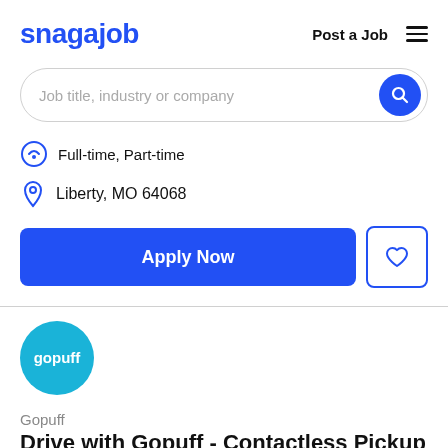snagajob  Post a Job
Job title, industry or company
Full-time, Part-time
Liberty, MO 64068
Apply Now
[Figure (logo): Gopuff company logo, teal circle with white text 'gopuff']
Gopuff
Drive with Gopuff - Contactless Pickup &